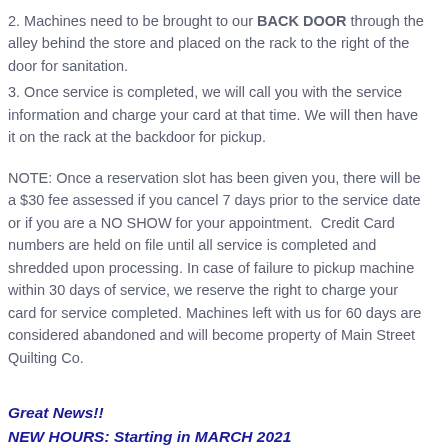2. Machines need to be brought to our BACK DOOR through the alley behind the store and placed on the rack to the right of the door for sanitation.
3. Once service is completed, we will call you with the service information and charge your card at that time. We will then have it on the rack at the backdoor for pickup.
NOTE: Once a reservation slot has been given you, there will be a $30 fee assessed if you cancel 7 days prior to the service date or if you are a NO SHOW for your appointment. Credit Card numbers are held on file until all service is completed and shredded upon processing. In case of failure to pickup machine within 30 days of service, we reserve the right to charge your card for service completed. Machines left with us for 60 days are considered abandoned and will become property of Main Street Quilting Co.
Great News!!
NEW HOURS: Starting in MARCH 2021
Monday-Friday 10am-5pm
Saturday 10am-4pm